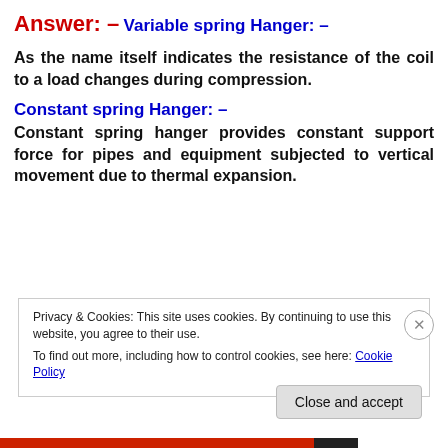Answer: –
Variable spring Hanger: –
As the name itself indicates the resistance of the coil to a load changes during compression.
Constant spring Hanger: –
Constant spring hanger provides constant support force for pipes and equipment subjected to vertical movement due to thermal expansion.
Privacy & Cookies: This site uses cookies. By continuing to use this website, you agree to their use.
To find out more, including how to control cookies, see here: Cookie Policy